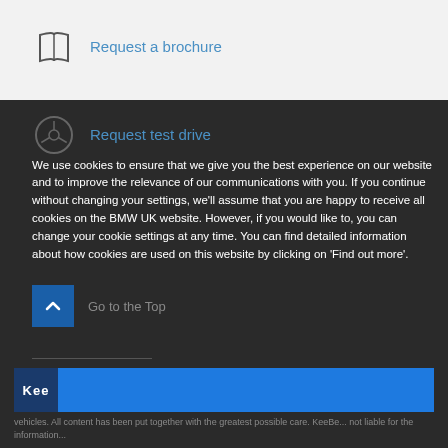[Figure (illustration): Open book / brochure icon]
Request a brochure
[Figure (illustration): Steering wheel icon for Request test drive]
Request test drive
We use cookies to ensure that we give you the best experience on our website and to improve the relevance of our communications with you. If you continue without changing your settings, we'll assume that you are happy to receive all cookies on the BMW UK website. However, if you would like to, you can change your cookie settings at any time. You can find detailed information about how cookies are used on this website by clicking on 'Find out more'.
[Figure (illustration): Scroll to top button with upward chevron]
Go to the Top
[Figure (logo): Kee logo in dark blue box followed by blue bar]
vehicles. All content has been put together with the greatest possible care. KeeBe... not liable for the information...